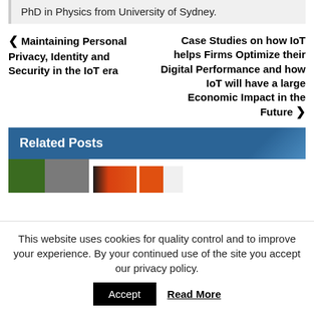PhD in Physics from University of Sydney.
< Maintaining Personal Privacy, Identity and Security in the IoT era
Case Studies on how IoT helps Firms Optimize their Digital Performance and how IoT will have a large Economic Impact in the Future >
Related Posts
[Figure (photo): Thumbnail images of related posts]
This website uses cookies for quality control and to improve your experience. By your continued use of the site you accept our privacy policy. Accept   Read More